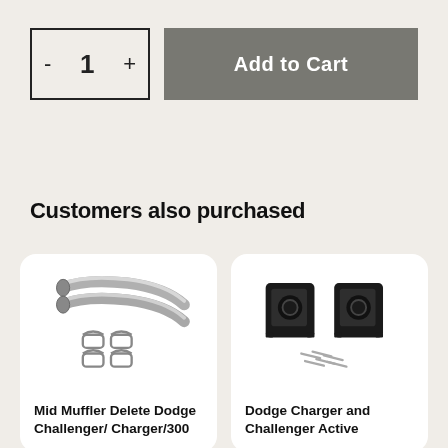[Figure (other): Quantity selector with minus button, number 1, and plus button inside a bordered box, next to a gray Add to Cart button]
Customers also purchased
[Figure (photo): Product card showing two curved exhaust pipes and four D-clamps with text: Mid Muffler Delete Dodge Challenger/ Charger/300]
[Figure (photo): Product card showing two black bracket mounts and screws with text: Dodge Charger and Challenger Active]